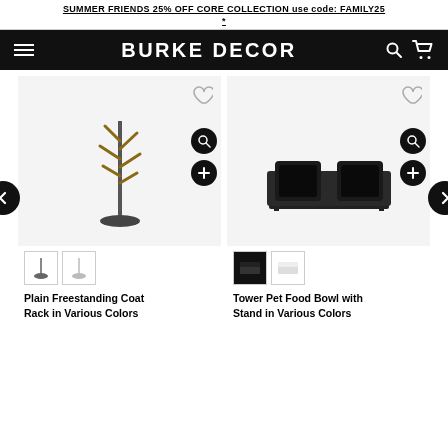SUMMER FRIENDS 25% OFF CORE COLLECTION use code: FAMILY25 *
BURKE DECOR
[Figure (screenshot): Product card: Plain Freestanding Coat Rack in Various Colors - tall minimalist coat rack with branching hooks on a round base, shown against light gray background. Thumbnail swatches below.]
[Figure (screenshot): Product card: Tower Pet Food Bowl with Stand in Various Colors - black double bowl on elevated stand, shown against light gray background. Thumbnail swatches below.]
Plain Freestanding Coat Rack in Various Colors
Tower Pet Food Bowl with Stand in Various Colors